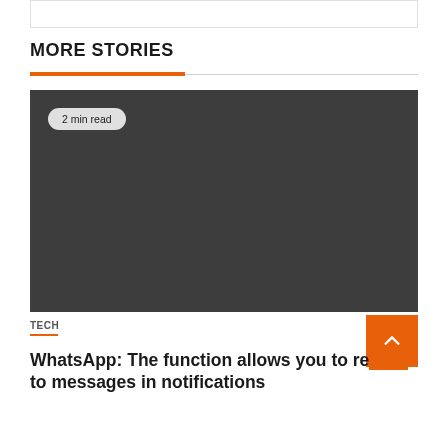MORE STORIES
[Figure (photo): Dark gray placeholder image for article thumbnail with a '2 min read' badge overlay]
TECH
WhatsApp: The function allows you to re[ply] to messages in notifications